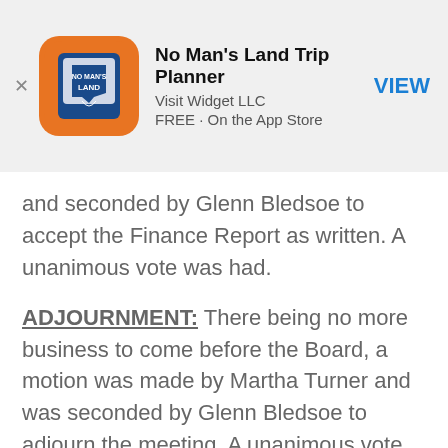[Figure (screenshot): App Store advertisement banner for 'No Man's Land Trip Planner' by Visit Widget LLC, FREE on the App Store, with a VIEW button]
and seconded by Glenn Bledsoe to accept the Finance Report as written. A unanimous vote was had.
ADJOURNMENT: There being no more business to come before the Board, a motion was made by Martha Turner and was seconded by Glenn Bledsoe to adjourn the meeting. A unanimous vote was had.